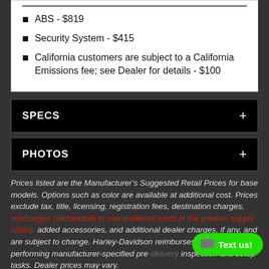ABS - $819
Security System - $415
California customers are subject to a California Emissions fee; see Dealer for details - $100
SPECS
PHOTOS
Prices listed are the Manufacturer's Suggested Retail Prices for base models. Options such as color are available at additional cost. Prices exclude tax, title, licensing, registration fees, destination charges, surcharges (attributable to raw materials costs in the product supply chain), added accessories, and additional dealer charges, if any, and are subject to change. Harley-Davidson reimburses dealers for performing manufacturer-specified pre-delivery inspection and setup tasks. Dealer prices may vary.